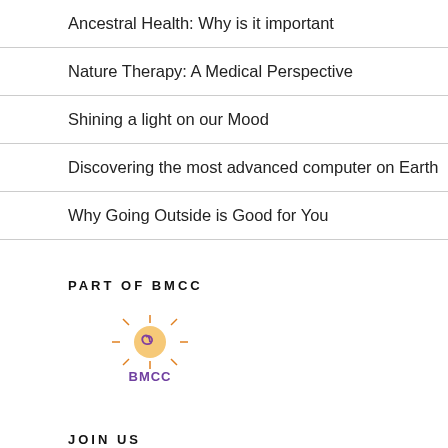Ancestral Health: Why is it important
Nature Therapy: A Medical Perspective
Shining a light on our Mood
Discovering the most advanced computer on Earth
Why Going Outside is Good for You
PART OF BMCC
[Figure (logo): BMCC logo: a spiral sun illustration above the text BMCC in purple]
JOIN US
First Name